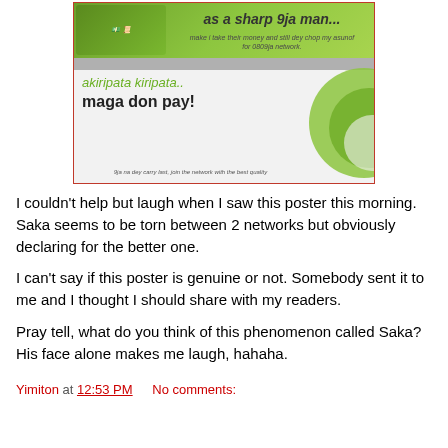[Figure (photo): A promotional poster with text 'as a sharp 9ja man...', 'akiripata kiripata.. maga don pay!' with money imagery and green design elements, bordered in red]
I couldn't help but laugh when I saw this poster this morning. Saka seems to be torn between 2 networks but obviously declaring for the better one.
I can't say if this poster is genuine or not. Somebody sent it to me and I thought I should share with my readers.
Pray tell, what do you think of this phenomenon called Saka? His face alone makes me laugh, hahaha.
Yimiton at 12:53 PM    No comments: